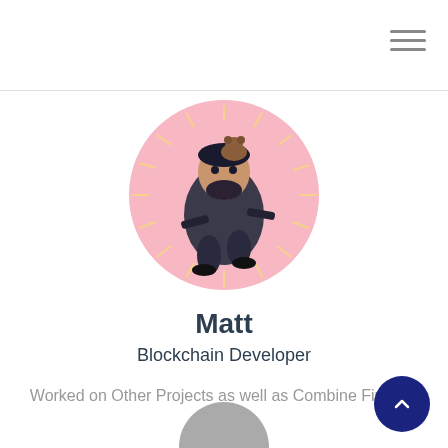[Figure (illustration): Circular avatar illustration of a cartoon character resembling John Wick holding two guns with a small dog on his shoulder, against a pink and orange sunburst background]
Matt
Blockchain Developer
Worked on Other Projects as well as Combine Finance